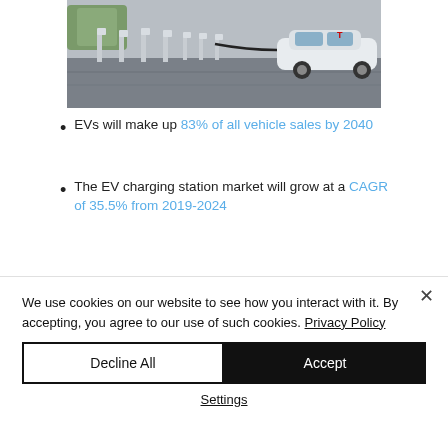[Figure (photo): Photo of Tesla EV charging station — a row of Supercharger posts in a parking lot with a white Tesla car plugged in on the right side.]
EVs will make up 83% of all vehicle sales by 2040
The EV charging station market will grow at a CAGR of 35.5% from 2019-2024
We use cookies on our website to see how you interact with it. By accepting, you agree to our use of such cookies. Privacy Policy
Decline All
Accept
Settings